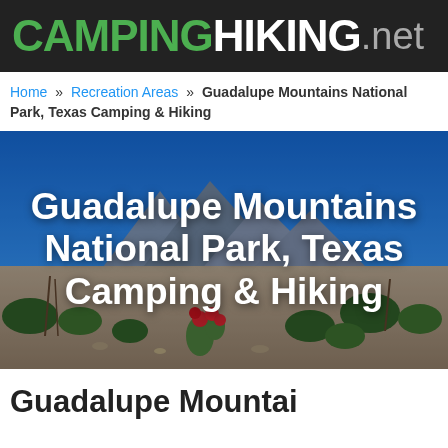CAMPINGHIKING.net
Home » Recreation Areas » Guadalupe Mountains National Park, Texas Camping & Hiking
[Figure (photo): Photograph of Guadalupe Mountains National Park landscape with desert vegetation including red flowering cactus and scrub brush in the foreground, rocky mountains in the background under a blue sky, with overlaid white bold text reading 'Guadalupe Mountains National Park, Texas Camping & Hiking']
Guadalupe Mountai…